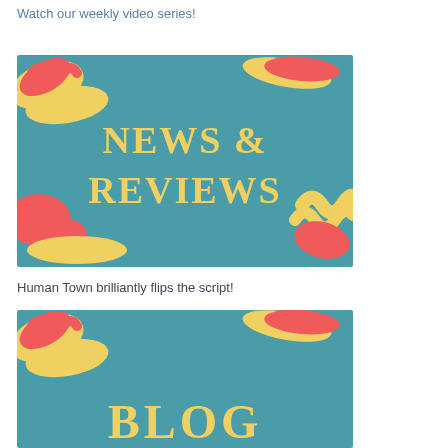Watch our weekly video series!
[Figure (illustration): Colorful teal banner with paint brush strokes in yellow and red/coral colors, with text 'NEWS & REVIEWS' in yellow handwritten-style font in the center.]
Human Town brilliantly flips the script!
[Figure (illustration): Colorful teal banner with paint brush strokes in yellow and red/coral colors, with text 'BLOG' in yellow handwritten-style font, partially visible at bottom of page.]